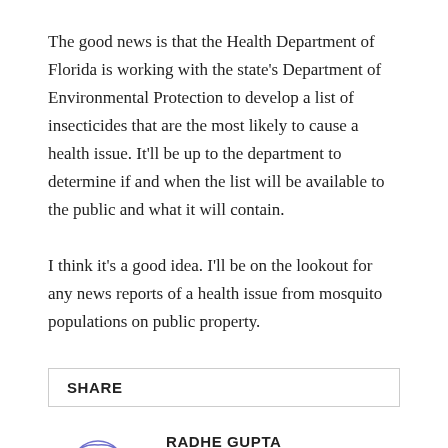The good news is that the Health Department of Florida is working with the state's Department of Environmental Protection to develop a list of insecticides that are the most likely to cause a health issue. It'll be up to the department to determine if and when the list will be available to the public and what it will contain.
I think it's a good idea. I'll be on the lookout for any news reports of a health issue from mosquito populations on public property.
SHARE
[Figure (illustration): Hand-drawn portrait illustration of Radhe Gupta in blue ink, showing face and upper shoulders with glasses.]
RADHE GUPTA
Radhe Gupta is an Indian business blogger. He